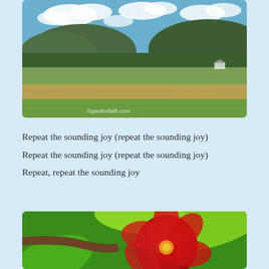[Figure (photo): Landscape photo showing a wide open field with green grass, a harvested crop field in the background, rolling forested hills, and mountains under a blue sky with white clouds. Watermark reads ©gardenfaith.com]
Repeat the sounding joy (repeat the sounding joy)
Repeat the sounding joy (repeat the sounding joy)
Repeat, repeat the sounding joy
[Figure (photo): Close-up photo of a bright red flower (camellia) with vivid green leaves, partially cropped at the bottom of the page.]